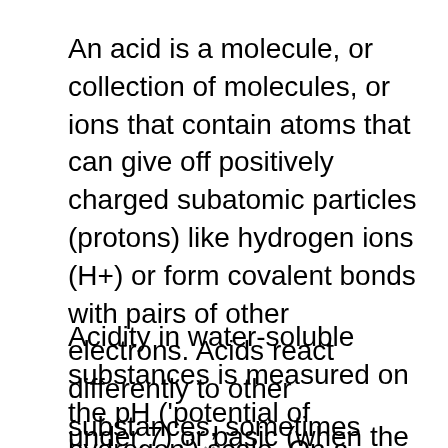An acid is a molecule, or collection of molecules, or ions that contain atoms that can give off positively charged subatomic particles (protons) like hydrogen ions (H+) or form covalent bonds with pairs of other electrons. Acids react differently to other substances, sometimes resulting in corrosive reactions.
Acidity in water-soluble substances is measured on the pH ('potential of hydrogen') scale. On a scale from 0 to 14, substances are deemed either acidic (when the pH is under 7) or basic (when the pH is over 7).
[Figure (photo): A partially visible photograph of what appears to be containers or jars, overlaid with a media player interface showing an X close button and overlay text about accessible media.]